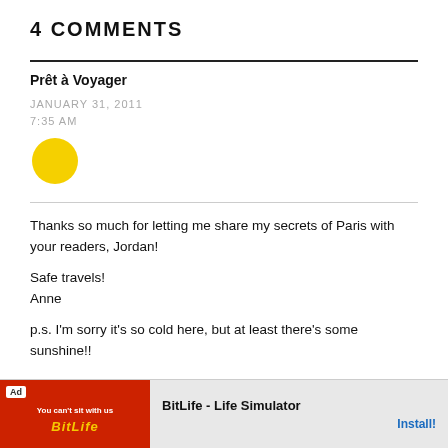4 COMMENTS
Prêt à Voyager
JANUARY 31, 2011
7:35 AM
[Figure (illustration): Yellow circle avatar]
Thanks so much for letting me share my secrets of Paris with your readers, Jordan!

Safe travels!
Anne

p.s. I'm sorry it's so cold here, but at least there's some sunshine!!
Jordana @ White Cabana
[Figure (other): BitLife - Life Simulator advertisement banner with red background and game imagery]